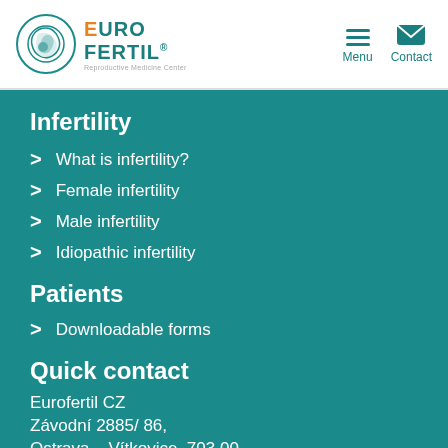[Figure (logo): Eurofertil Reproductive Medicine Center logo with circular emblem and orange/teal text]
Infertility
What is infertility?
Female infertility
Male infertility
Idiopathic infertility
Patients
Downloadable forms
Quick contact
Eurofertil CZ
Závodní 2885/ 86,
Ostrava – Vítkovice, 703 00
Tel.: +420 737 470 924
E-mail: recepce@eurofertil.cz